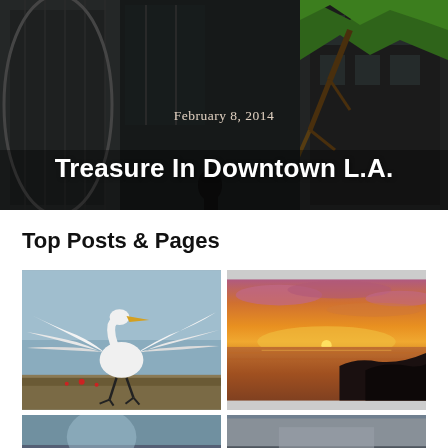[Figure (photo): Hero banner image showing a large green bird sculpture/installation hanging above a modern building exterior in Downtown L.A. Dark urban architecture background.]
February 8, 2014
Treasure In Downtown L.A.
Top Posts & Pages
[Figure (photo): White egret bird with wings spread wide, standing on ground with vegetation, against a blue-grey sky background.]
[Figure (photo): Dramatic ocean sunset with orange and pink sky over dark silhouetted cliffs and calm water.]
[Figure (photo): Partially visible photo at bottom left, cropped.]
[Figure (photo): Partially visible photo at bottom right, cropped.]